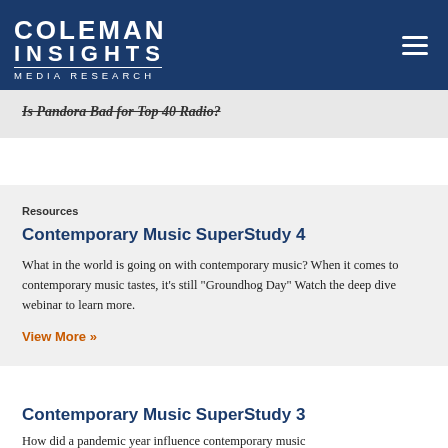[Figure (logo): Coleman Insights Media Research logo in white on dark blue header background]
Is Pandora Bad for Top 40 Radio?
Resources
Contemporary Music SuperStudy 4
What in the world is going on with contemporary music? When it comes to contemporary music tastes, it’s still “Groundhog Day” Watch the deep dive webinar to learn more.
View More »
Contemporary Music SuperStudy 3
How did a pandemic year influence contemporary music